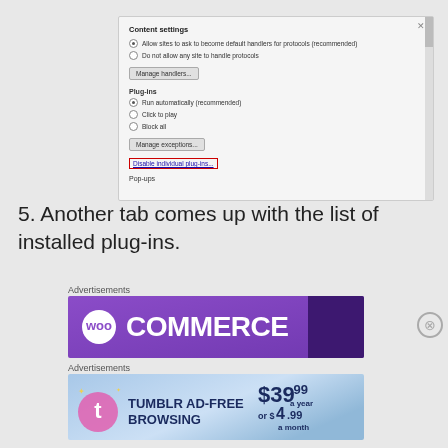[Figure (screenshot): Chrome Content Settings dialog showing Plug-ins section with options: Run automatically (recommended), Click to play, Block all, Manage exceptions button, and Disable individual plug-ins link highlighted in red box]
5. Another tab comes up with the list of installed plug-ins.
Advertisements
[Figure (illustration): WooCommerce advertisement banner with purple background and WooCommerce logo]
Advertisements
[Figure (illustration): Tumblr Ad-Free Browsing advertisement banner showing $39.99 a year or $4.99 a month pricing]